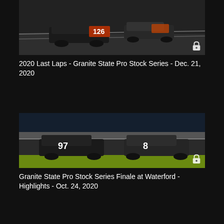[Figure (photo): Night racing photo showing two stock cars on a track, one black car with number 126, taken at night with track lights]
2020 Last Laps - Granite State Pro Stock Series - Dec. 21, 2020
[Figure (photo): Night racing photo showing two black stock cars racing on track, car number 97 and car number 8, with green grass infield visible]
Granite State Pro Stock Series Finale at Waterford - Highlights - Oct. 24, 2020